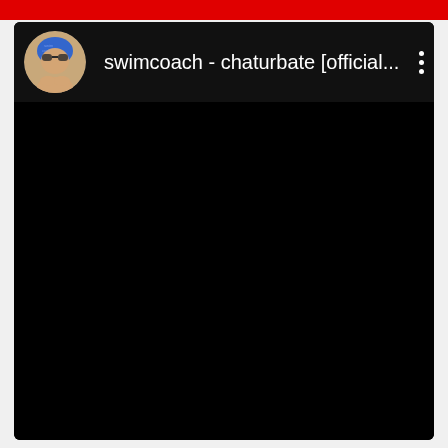[Figure (screenshot): A mobile app screenshot showing a YouTube-style video card with a black thumbnail. The card has a header with a circular avatar showing a swimmer/swim coach illustration, the channel name 'swimcoach - chaturbate [official...' in white text on dark background, and a vertical three-dot menu icon on the right. The main content area is entirely black (dark/unloaded video thumbnail). A red bar appears at the very top of the page.]